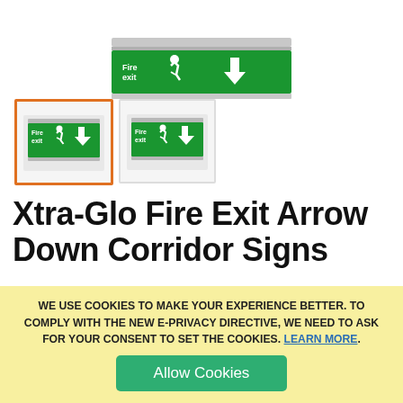[Figure (photo): Top portion of a ceiling-mounted fire exit sign with arrow down, partially visible at top of page]
[Figure (photo): Two thumbnail images of Xtra-Glo Fire Exit Arrow Down Corridor Signs. The first thumbnail has an orange border (selected state) and shows a wall-mounted green fire exit sign with running man and downward arrow. The second thumbnail shows a similar sign without border.]
Xtra-Glo Fire Exit Arrow Down Corridor Signs
WE USE COOKIES TO MAKE YOUR EXPERIENCE BETTER. TO COMPLY WITH THE NEW E-PRIVACY DIRECTIVE, WE NEED TO ASK FOR YOUR CONSENT TO SET THE COOKIES. LEARN MORE.
Allow Cookies